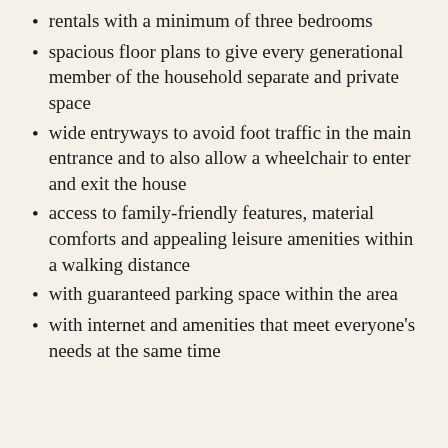rentals with a minimum of three bedrooms
spacious floor plans to give every generational member of the household separate and private space
wide entryways to avoid foot traffic in the main entrance and to also allow a wheelchair to enter and exit the house
access to family-friendly features, material comforts and appealing leisure amenities within a walking distance
with guaranteed parking space within the area
with internet and amenities that meet everyone's needs at the same time